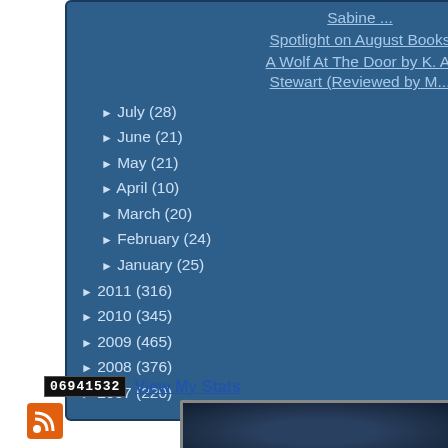Sabine ...
Spotlight on August Books
A Wolf At The Door by K. A. Stewart (Reviewed by M...
► July (28)
► June (21)
► May (21)
► April (10)
► March (20)
► February (24)
► January (25)
► 2011 (316)
► 2010 (345)
► 2009 (465)
► 2008 (376)
► 2007 (220)
06941532  View My Stats
[Figure (screenshot): Bottom banner/widget with dark blue textured background and metallic border, partially visible]